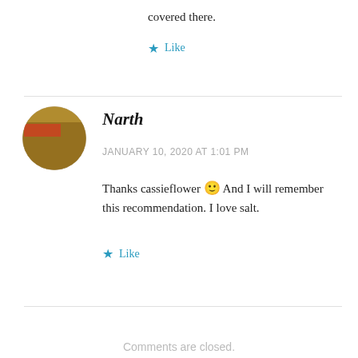covered there.
Like
Narth
JANUARY 10, 2020 AT 1:01 PM
Thanks cassieflower 🙂 And I will remember this recommendation. I love salt.
Like
Comments are closed.